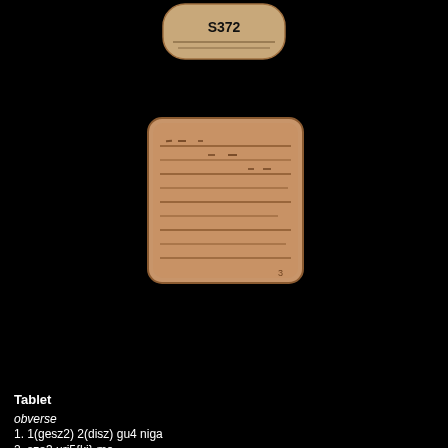[Figure (photo): Photograph of a cuneiform clay tablet labeled S372 against a black background, shown from two angles: a top view showing the label tag and a front view showing cuneiform inscriptions on the clay surface.]
Tablet
obverse
1. 1(gesz2) 2(disz) gu4 niga
2. sza3 uri5{ki}-ma
3. u4 1(u)-kam
4. ki ab-ba-sa6-ga-ta
reverse
1. {d}szul-gi-a-a-mu#
2. i3-dab5
$ blank space
3. iti ezem-an-na
4. mu en {d}inanna ba-hun
left
1. 1(gesz2) 2(disz)